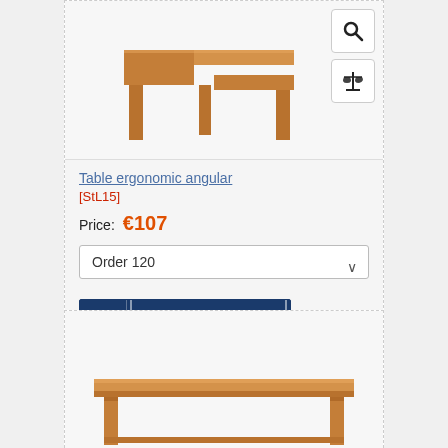[Figure (photo): Ergonomic angular wooden desk, L-shaped, beech wood color, partial view at top of page]
Table ergonomic angular
[StL15]
Price:  €107
Order 120
ADD TO CART
[Figure (photo): Simple rectangular wooden desk/table, beech color, bottom of page (partial view)]